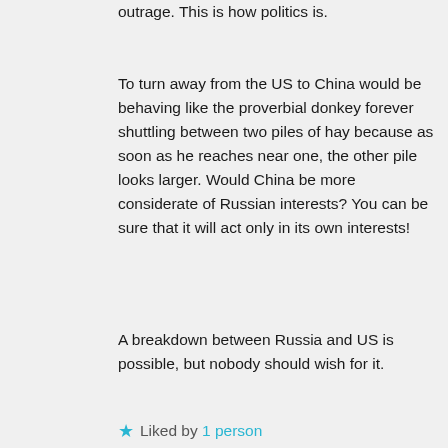outrage. This is how politics is.
To turn away from the US to China would be behaving like the proverbial donkey forever shuttling between two piles of hay because as soon as he reaches near one, the other pile looks larger. Would China be more considerate of Russian interests? You can be sure that it will act only in its own interests!
A breakdown between Russia and US is possible, but nobody should wish for it.
Liked by 1 person